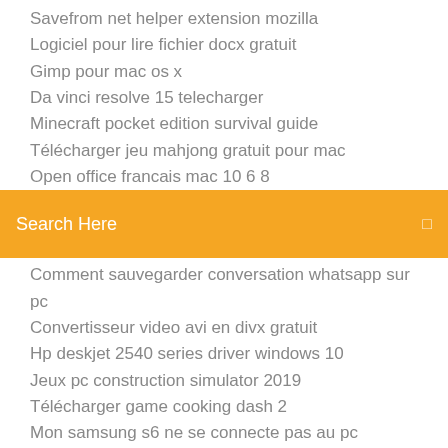Savefrom net helper extension mozilla
Logiciel pour lire fichier docx gratuit
Gimp pour mac os x
Da vinci resolve 15 telecharger
Minecraft pocket edition survival guide
Télécharger jeu mahjong gratuit pour mac
Open office francais mac 10 6 8
[Figure (screenshot): Orange search bar with 'Search Here' placeholder text and a search icon on the right]
Comment sauvegarder conversation whatsapp sur pc
Convertisseur video avi en divx gratuit
Hp deskjet 2540 series driver windows 10
Jeux pc construction simulator 2019
Télécharger game cooking dash 2
Mon samsung s6 ne se connecte pas au pc
Quel logiciel pour retoucher les photos sur mac
Rise of nation complete game gratuit télécharger for pc
Diner dash flo on the go
Foxit reader en francais télécharger